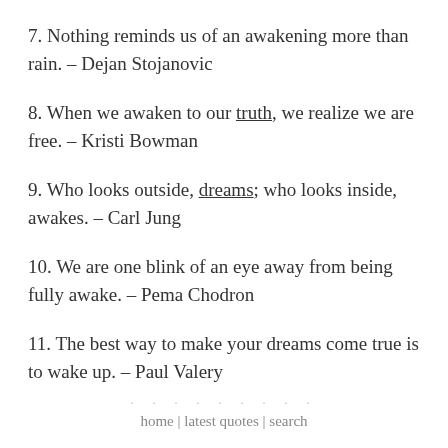7. Nothing reminds us of an awakening more than rain. – Dejan Stojanovic
8. When we awaken to our truth, we realize we are free. – Kristi Bowman
9. Who looks outside, dreams; who looks inside, awakes. – Carl Jung
10. We are one blink of an eye away from being fully awake. – Pema Chodron
11. The best way to make your dreams come true is to wake up. – Paul Valery
home | latest quotes | search